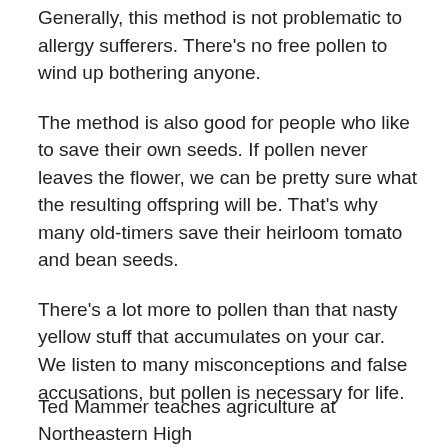Generally, this method is not problematic to allergy sufferers. There's no free pollen to wind up bothering anyone.
The method is also good for people who like to save their own seeds. If pollen never leaves the flower, we can be pretty sure what the resulting offspring will be. That's why many old-timers save their heirloom tomato and bean seeds.
There's a lot more to pollen than that nasty yellow stuff that accumulates on your car. We listen to many misconceptions and false accusations, but pollen is necessary for life.
Ted Mammer teaches agriculture at Northeastern High